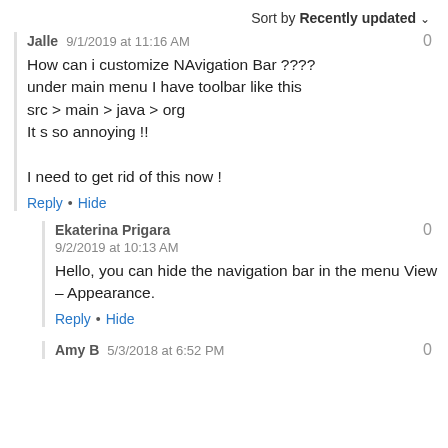Sort by Recently updated
Jalle  9/1/2019 at 11:16 AM
How can i customize NAvigation Bar ????
under main menu I have toolbar like this
src > main > java > org
It s so annoying !!

I need to get rid of this now !
Reply • Hide
Ekaterina Prigara  9/2/2019 at 10:13 AM
Hello, you can hide the navigation bar in the menu View – Appearance.
Reply • Hide
Amy B  5/3/2018 at 6:52 PM